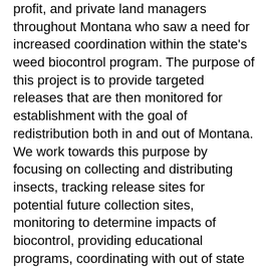profit, and private land managers throughout Montana who saw a need for increased coordination within the state's weed biocontrol program.  The purpose of this project is to provide targeted releases that are then monitored for establishment with the goal of redistribution both in and out of Montana.  We work towards this purpose by focusing on collecting and distributing insects, tracking release sites for potential future collection sites, monitoring to determine impacts of biocontrol, providing educational programs, coordinating with out of state partners, supporting biocontrol consortiums, and conducting surveys for partner needs.
Mission:  To provide the leadership, coordination, and education necessary to enable land managers across Montana to successfully incorporate biological weed control into their noxious weed management programs.
Contact Info: